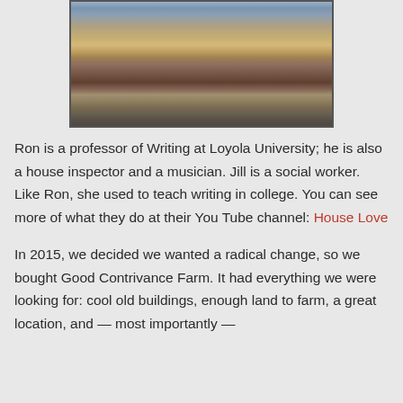[Figure (photo): Photo of a basset hound dog sitting on a wooden deck near a person's feet wearing black shoes and white socks, with a chain-link fence in the background.]
Ron is a professor of Writing at Loyola University; he is also a house inspector and a musician. Jill is a social worker. Like Ron, she used to teach writing in college. You can see more of what they do at their You Tube channel: House Love
In 2015, we decided we wanted a radical change, so we bought Good Contrivance Farm. It had everything we were looking for: cool old buildings, enough land to farm, a great location, and — most importantly —